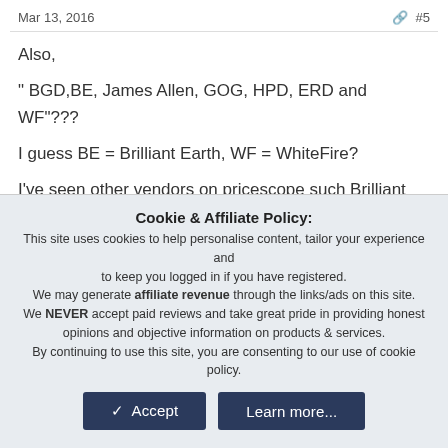Mar 13, 2016   #5
Also,
" BGD,BE, James Allen, GOG, HPD, ERD and WF"???
I guess BE = Brilliant Earth, WF = WhiteFire?
I've seen other vendors on pricescope such Brilliant Engage (they imply $250 restocking fee if return), B2C Jewels, Solomon Brothers, ...
Are they worth to look into?
I know JA is best place but it costs more than others, I think.
Do you or anyone have any other recommendation?
Cookie & Affiliate Policy:
This site uses cookies to help personalise content, tailor your experience and to keep you logged in if you have registered.
We may generate affiliate revenue through the links/ads on this site.
We NEVER accept paid reviews and take great pride in providing honest opinions and objective information on products & services.
By continuing to use this site, you are consenting to our use of cookie policy.
✓ Accept   Learn more...